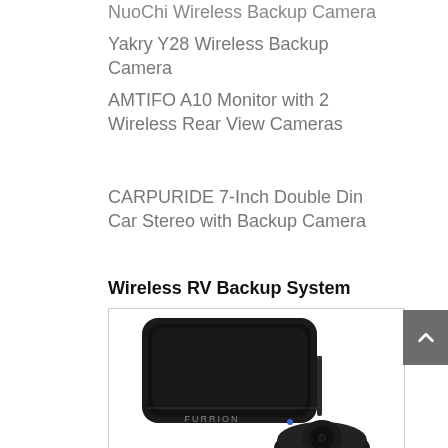NuoeChi Wireless Backup Camera
Yakry Y28 Wireless Backup Camera
AMTIFO A10 Monitor with 2 Wireless Rear View Cameras
CARPURIDE 7-Inch Double Din Car Stereo with Backup Camera
Wireless RV Backup System
[Figure (photo): Furrion wireless RV backup system showing a black rectangular monitor unit and a round camera unit with antenna]